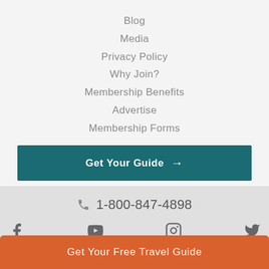Blog
Media
Privacy Policy
Why Join?
Membership Benefits
Advertise
Membership Forms
Get Your Guide →
1-800-847-4898
Get Your Free Travel Guide